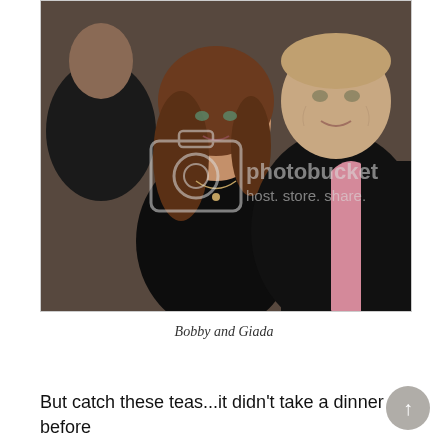[Figure (photo): A photo of two people — a woman with long brown hair wearing a black outfit, and a man in a black jacket over a pink shirt — posing together indoors. A Photobucket watermark is visible over the image.]
Bobby and Giada
But catch these teas...it didn't take a dinner before